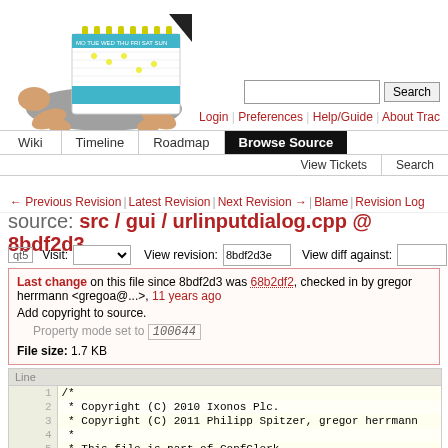[Figure (logo): Trac logo: a calendar on a turtle/tortoise illustration]
Login | Preferences | Help/Guide | About Trac
Wiki | Timeline | Roadmap | Browse Source | View Tickets | Search
← Previous Revision | Latest Revision | Next Revision → | Blame | Revision Log
source: src / gui / urlinputdialog.cpp @ 8bdf2d3
qt5  Visit: [dropdown]  View revision: 8bdf2d3e  View diff against: [input]
Last change on this file since 8bdf2d3 was 68b2df2, checked in by gregor herrmann <gregoa@...>, 11 years ago
Add copyright to source.
Property mode set to 100644
File size: 1.7 KB
| Line |  |
| --- | --- |
| 1 | /* |
| 2 |  * Copyright (C) 2010 Ixonos Plc. |
| 3 |  * Copyright (C) 2011 Philipp Spitzer, gregor herrmann |
| 4 |  * |
| 5 |  * This file is part of ConfClerk. |
| 6 |  * |
| 7 |  * ConfClerk is free software: you can redistribute it |